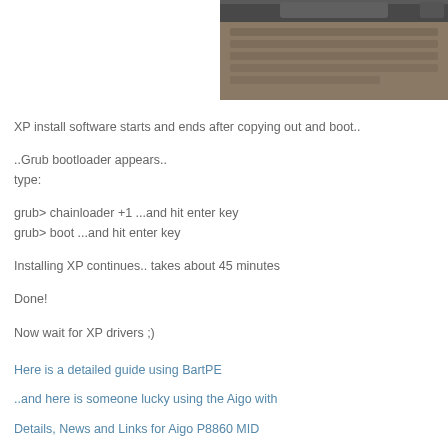[Figure (photo): Partial photo of what appears to be a laptop or MID device keyboard/screen area, cropped at the top of the page on the right side.]
XP install software starts and ends after copying out and boot..
..Grub bootloader appears..
type:
grub> chainloader +1 ...and hit enter key
grub> boot ...and hit enter key
Installing XP continues.. takes about 45 minutes
Done!
Now wait for XP drivers ;)
Here is a detailed guide using BartPE
..and here is someone lucky using the Aigo with
Details, News and Links for Aigo P8860 MID
Posted by JKKort 8:07 AM 30